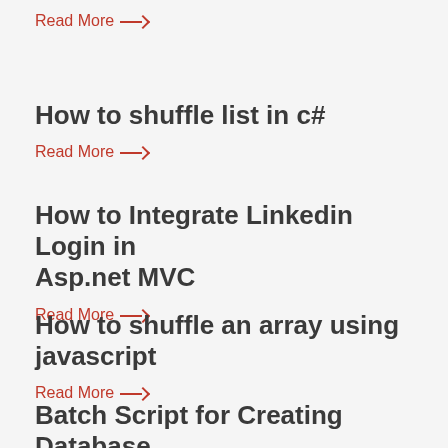Read More →
How to shuffle list in c#
Read More →
How to Integrate Linkedin Login in Asp.net MVC
Read More →
How to shuffle an array using javascript
Read More →
Batch Script for Creating Database